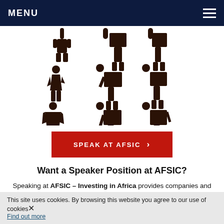MENU
[Figure (illustration): Grid of 9 dark silhouette figures of speakers at podiums arranged in 3 rows of 3]
SPEAK AT AFSIC >
Want a Speaker Position at AFSIC?
Speaking at AFSIC – Investing in Africa provides companies and investors with a prestigious platform to raise their profile globally and within Africa’s business and investment world. Due to strong demand for speaking slots, and in line with the
This site uses cookies. By browsing this website you agree to our use of cookies. Find out more